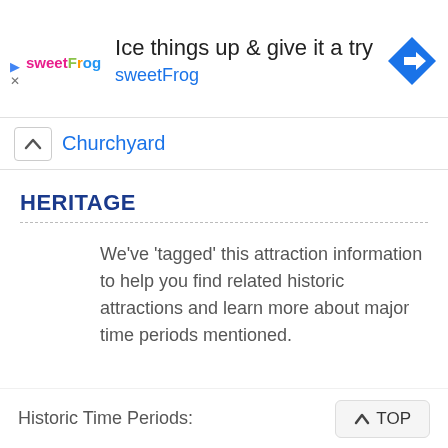[Figure (other): Advertisement banner for sweetFrog: 'Ice things up & give it a try' with sweetFrog logo, brand name in teal, and a blue navigation/directions diamond icon]
Churchyard
HERITAGE
We've 'tagged' this attraction information to help you find related historic attractions and learn more about major time periods mentioned.
Historic Time Periods: